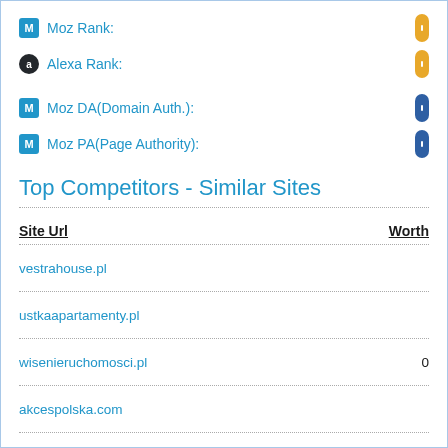Moz Rank:
Alexa Rank:
Moz DA(Domain Auth.):
Moz PA(Page Authority):
Top Competitors - Similar Sites
| Site Url | Worth |
| --- | --- |
| vestrahouse.pl |  |
| ustkaapartamenty.pl |  |
| wisenieruchomosci.pl | 0 |
| akcespolska.com |  |
| joannahouse.com.pl |  |